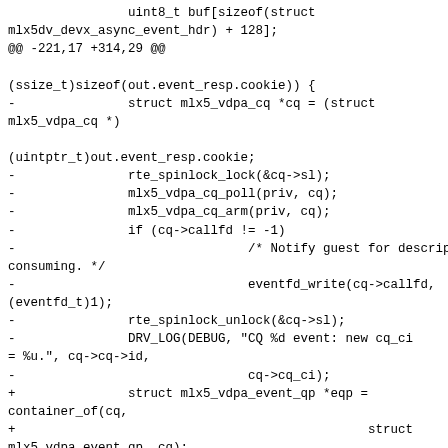Code diff showing changes to mlx5_vdpa event handling, including removal of spinlock/poll/arm/callfd code and addition of mlx5_vdpa_event_qp and mlx5_vdpa_virtq container_of calls.